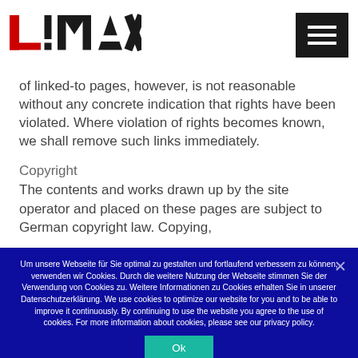LMAX [logo] [hamburger menu]
of linked-to pages, however, is not reasonable without any concrete indication that rights have been violated. Where violation of rights becomes known, we shall remove such links immediately.
Copyright
The contents and works drawn up by the site operator and placed on these pages are subject to German copyright law. Copying,
Um unsere Webseite für Sie optimal zu gestalten und fortlaufend verbessern zu können, verwenden wir Cookies. Durch die weitere Nutzung der Webseite stimmen Sie der Verwendung von Cookies zu. Weitere Informationen zu Cookies erhalten Sie in unserer Datenschutzerklärung. We use cookies to optimize our website for you and to be able to improve it continuously. By continuing to use the website you agree to the use of cookies. For more information about cookies, please see our privacy policy.
Ok